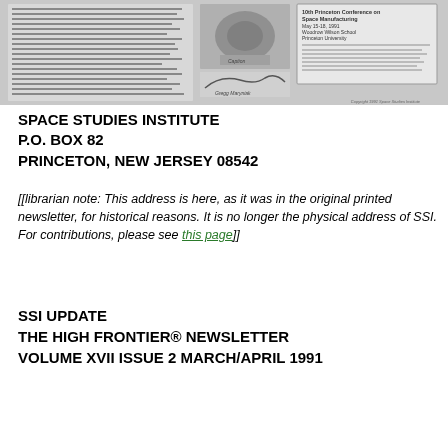[Figure (photo): Scanned newsletter page with text columns and a small boxed conference announcement, along with a photograph of space equipment and a signature. Caption reads 'Copyright 1991 Space Studies Institute'.]
SPACE STUDIES INSTITUTE
P.O. BOX 82
PRINCETON, NEW JERSEY 08542
[[librarian note: This address is here, as it was in the original printed newsletter, for historical reasons. It is no longer the physical address of SSI. For contributions, please see this page]]
SSI UPDATE
THE HIGH FRONTIER® NEWSLETTER
VOLUME XVII ISSUE 2 MARCH/APRIL 1991